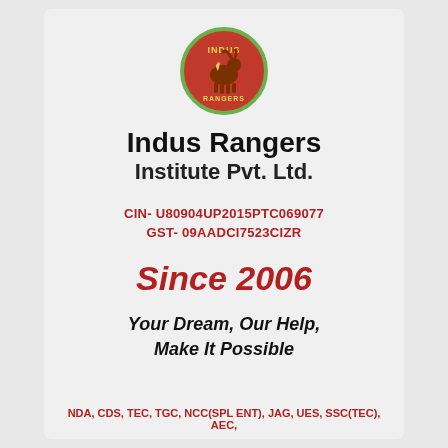[Figure (logo): Indus Rangers circular logo with green border, red background, and animal silhouette]
Indus Rangers Institute Pvt. Ltd.
CIN- U80904UP2015PTC069077
GST- 09AADCI7523CIZR
Since 2006
Your Dream, Our Help, Make It Possible
NDA, CDS, TEC, TGC, NCC(SPL ENT), JAG, UES, SSC(TEC), AEC,